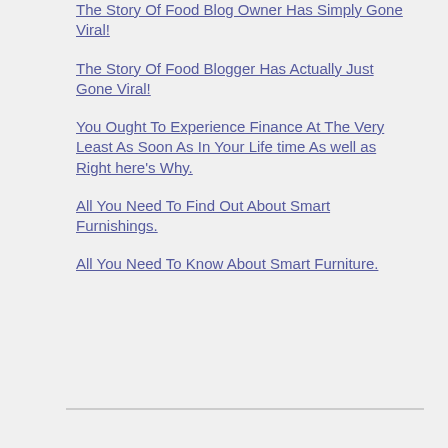The Story Of Food Blog Owner Has Simply Gone Viral!
The Story Of Food Blogger Has Actually Just Gone Viral!
You Ought To Experience Finance At The Very Least As Soon As In Your Life time As well as Right here's Why.
All You Need To Find Out About Smart Furnishings.
All You Need To Know About Smart Furniture.